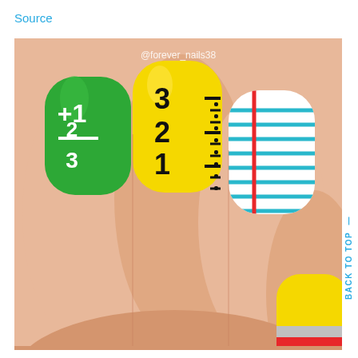Source
[Figure (photo): Close-up photo of nail art on fingers showing school/education theme: one nail painted green with white math equation (+1/2/3), one nail painted yellow with ruler markings (3,2,1), one nail painted white with teal/blue horizontal stripes and a red vertical line (notebook paper), and one partially visible nail painted yellow with red and silver tip (pencil). Instagram watermark reads @forever_nails38.]
BACK TO TOP —